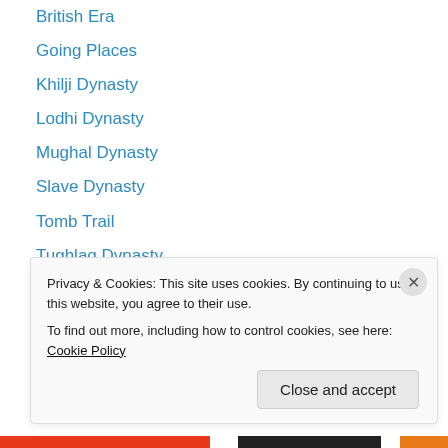British Era
Going Places
Khilji Dynasty
Lodhi Dynasty
Mughal Dynasty
Slave Dynasty
Tomb Trail
Tughlaq Dynasty
Uncategorized
Archives
January 2018
Privacy & Cookies: This site uses cookies. By continuing to use this website, you agree to their use.
To find out more, including how to control cookies, see here: Cookie Policy